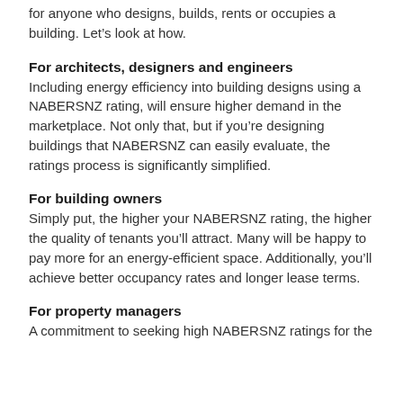for anyone who designs, builds, rents or occupies a building. Let's look at how.
For architects, designers and engineers
Including energy efficiency into building designs using a NABERSNZ rating, will ensure higher demand in the marketplace. Not only that, but if you're designing buildings that NABERSNZ can easily evaluate, the ratings process is significantly simplified.
For building owners
Simply put, the higher your NABERSNZ rating, the higher the quality of tenants you'll attract. Many will be happy to pay more for an energy-efficient space. Additionally, you'll achieve better occupancy rates and longer lease terms.
For property managers
A commitment to seeking high NABERSNZ ratings for the